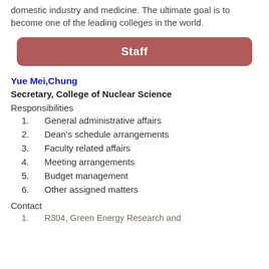domestic industry and medicine. The ultimate goal is to become one of the leading colleges in the world.
Staff
Yue Mei,Chung
Secretary, College of Nuclear Science
Responsibilities
1. General administrative affairs
2. Dean's schedule arrangements
3. Faculty related affairs
4. Meeting arrangements
5. Budget management
6. Other assigned matters
Contact
1. R304, Green Energy Research and